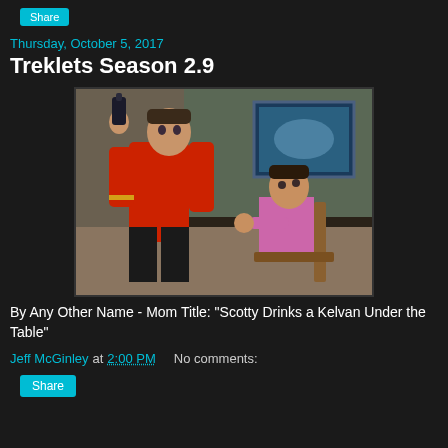Share
Thursday, October 5, 2017
Treklets Season 2.9
[Figure (photo): A scene from Star Trek original series showing Scotty in a red uniform drinking from a bottle while a man in a pink shirt looks on, seated in a chair.]
By Any Other Name - Mom Title: "Scotty Drinks a Kelvan Under the Table"
Jeff McGinley at 2:00 PM   No comments:
Share